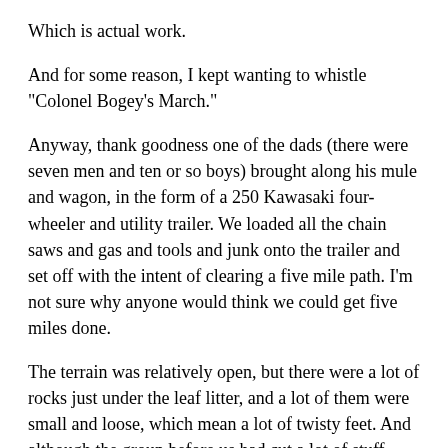Which is actual work.
And for some reason, I kept wanting to whistle "Colonel Bogey's March."
Anyway, thank goodness one of the dads (there were seven men and ten or so boys) brought along his mule and wagon, in the form of a 250 Kawasaki four-wheeler and utility trailer. We loaded all the chain saws and gas and tools and junk onto the trailer and set off with the intent of clearing a five mile path. I'm not sure why anyone would think we could get five miles done.
The terrain was relatively open, but there were a lot of rocks just under the leaf litter, and a lot of them were small and loose, which mean a lot of twisty feet. And although the group before us had cut a lot of stuff, they'd also left a good bit of smaller things in the way, so we wound up cleaning up those parts, too. The mule did fine, although there were several tight hollows and gulleys that I didn't think the driver was going to make it through, but he appeared to have done this more than once in the past. We